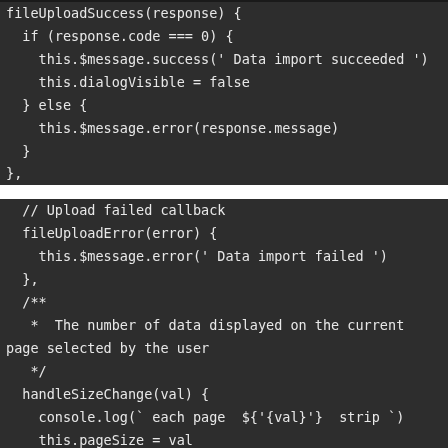fileUploadSuccess(response) {
  if (response.code === 0) {
    this.$message.success(' Data import succeeded ')
    this.dialogVisible = false
  } else {
    this.$message.error(response.message)
  }
},

// Upload failed callback
fileUploadError(error) {
  this.$message.error(' Data import failed ')
},
/**
 *  The number of data displayed on the current page selected by the user
 */
handleSizeChange(val) {
  console.log(` each page  ${val}  strip `)
  this.pageSize = val
  this.getList()